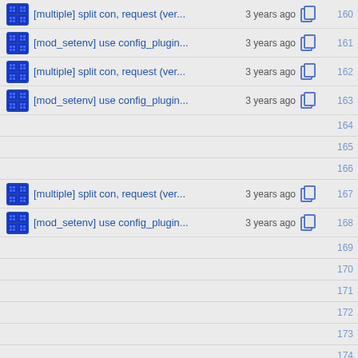[multiple] split con, request (ver... 3 years ago 160
[mod_setenv] use config_plugin... 3 years ago 161
[multiple] split con, request (ver... 3 years ago 162
[mod_setenv] use config_plugin... 3 years ago 163
164
165
166
[multiple] split con, request (ver... 3 years ago 167
[mod_setenv] use config_plugin... 3 years ago 168
169
170
171
172
173
174
[multiple] reduce redundant NUL... 1 year ago 175
176
[mod_setenv] use config_plugin... 3 years ago 177
178
179
180